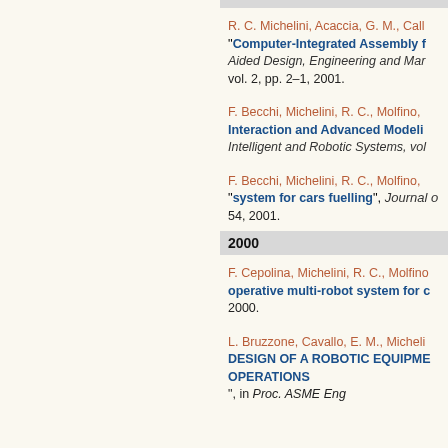R. C. Michelini, Acaccia, G. M., Call... "Computer-Integrated Assembly f...", Aided Design, Engineering and Mar..., vol. 2, pp. 2–1, 2001.
F. Becchi, Michelini, R. C., Molfino, ... "Interaction and Advanced Modeli...", Intelligent and Robotic Systems, vol...
F. Becchi, Michelini, R. C., Molfino, ... "system for cars fuelling", Journal o... 54, 2001.
2000
F. Cepolina, Michelini, R. C., Molfino... "operative multi-robot system for c...", 2000.
L. Bruzzone, Cavallo, E. M., Micheli... "DESIGN OF A ROBOTIC EQUIPME... OPERATIONS", in Proc. ASME Eng...